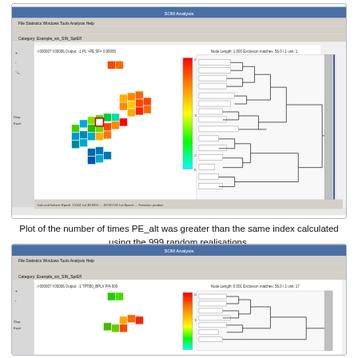[Figure (screenshot): Screenshot of a software application showing a SOM (Self-Organizing Map) visualization with a heatmap of colored cells (red/orange/yellow/green/cyan/blue gradient) arranged in a crescent/arc shape, alongside a dendrogram tree on the right side. The heatmap shows values ranging from low (cyan/blue) to high (red). Color scale bar visible in center.]
Plot of the number of times PE_alt was greater than the same index calculated using the 999 random realisations.
[Figure (screenshot): Second screenshot of the same software application showing a similar SOM visualization with a heatmap, but with different/fewer colored cells (mostly green and red/orange), and a dendrogram on the right. Partial view as the image is cut off at the bottom.]